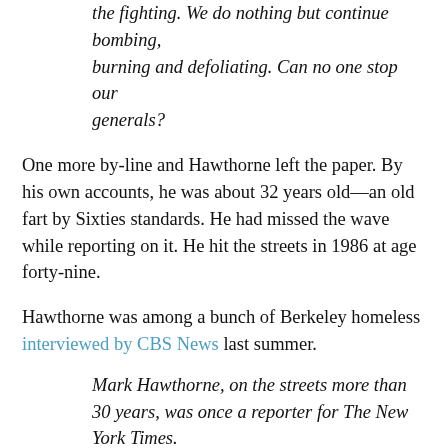the fighting. We do nothing but continue bombing, burning and defoliating. Can no one stop our generals?
One more by-line and Hawthorne left the paper. By his own accounts, he was about 32 years old—an old fart by Sixties standards. He had missed the wave while reporting on it. He hit the streets in 1986 at age forty-nine.
Hawthorne was among a bunch of Berkeley homeless interviewed by CBS News last summer.
Mark Hawthorne, on the streets more than 30 years, was once a reporter for The New York Times.
“I was normal for 35 years and then I got bored,” Hawthorne said.
Riiiight. He was a Sixties wanna-be then he became a Telegraph Avenue garbage connoisseur. Living the dream.
Forget Kevin Fagin’s anodyne Q&A. For a real taste of The